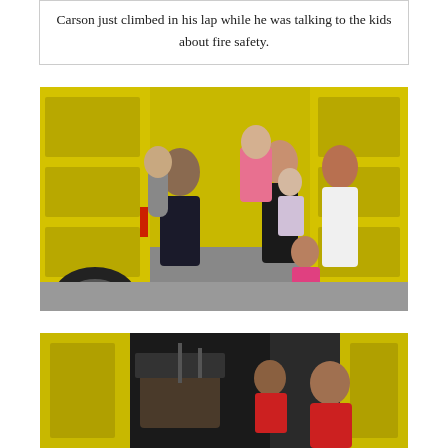Carson just climbed in his lap while he was talking to the kids about fire safety.
[Figure (photo): Two women standing in front of a yellow fire truck, each holding a young child. One woman wears a black jacket and holds a boy in a gray hoodie; the other wears a white jacket and holds a girl in a pink jacket with another toddler beside her. A small girl in a pink hoodie stands in front.]
[Figure (photo): Interior view of a fire truck cab with dark equipment visible, and a child in a red jacket sitting inside exploring the vehicle.]